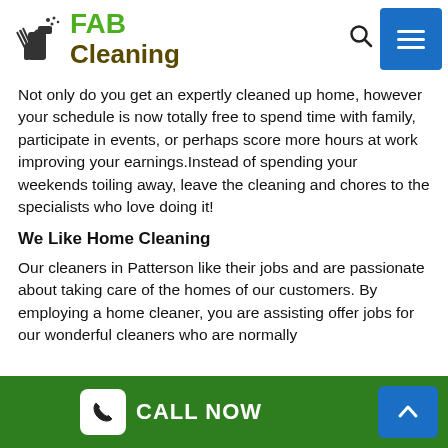[Figure (logo): FAB Cleaning logo with cleaning spray bottle icon. 'FAB' in green bold text, 'Cleaning' in dark olive/brown bold text.]
Not only do you get an expertly cleaned up home, however your schedule is now totally free to spend time with family, participate in events, or perhaps score more hours at work improving your earnings.Instead of spending your weekends toiling away, leave the cleaning and chores to the specialists who love doing it!
We Like Home Cleaning
Our cleaners in Patterson like their jobs and are passionate about taking care of the homes of our customers. By employing a home cleaner, you are assisting offer jobs for our wonderful cleaners who are normally